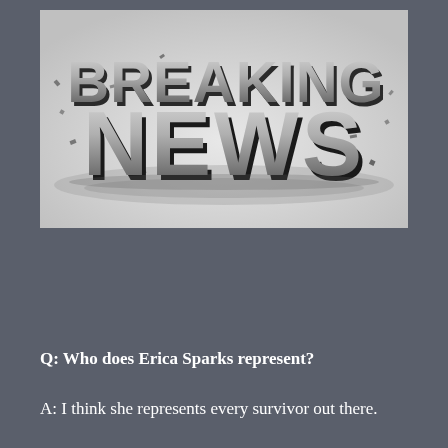[Figure (illustration): Breaking News graphic: large 3D bold metallic letters spelling BREAKING NEWS with debris and shattered pieces around them on a light grey/white background]
Q: Who does Erica Sparks represent?
A: I think she represents every survivor out there.